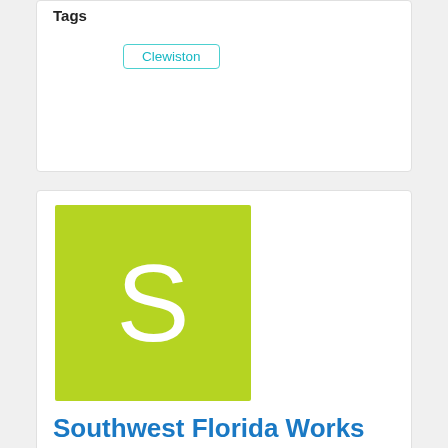Tags
Clewiston
[Figure (logo): Yellow-green square with white letter S — logo placeholder for Southwest Florida Works Clewiston]
Southwest Florida Works Clewiston
One Stop Career Centers assist employers and job seekers by connecting employment, education, and training services into an integrated network of